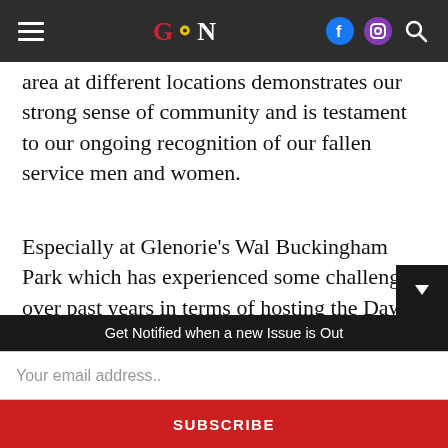GCN navigation bar
area at different locations demonstrates our strong sense of community and is testament to our ongoing recognition of our fallen service men and women.
Especially at Glenorie's Wal Buckingham Park which has experienced some challenges over past years in terms of hosting the Dawn Service. On that note, I was pleased to be informed that fund raising for the Ray Whiteman Heritage Fence has been so successful to date that the stone has n…
Get Notified when a new Issue is Out
Your email address..
SUBSCRIBE